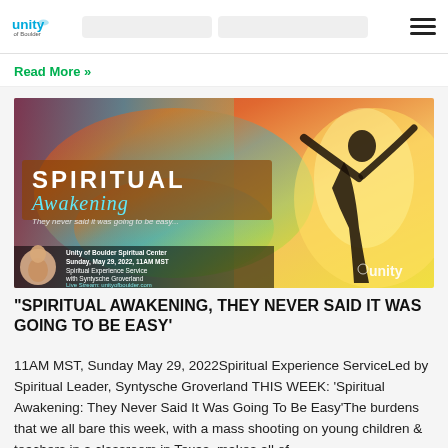Unity of Boulder
Read More »
[Figure (illustration): Spiritual Awakening banner image with colorful butterfly wings and silhouette of a person. Text overlay reads: SPIRITUAL Awakening They never said it was going to be easy... Unity of Boulder Spiritual Center, Sunday, May 29, 2022, 11AM MST, Spiritual Experience Service with Syntysche Groverland, Live Stream: unityofboulder.com]
"SPIRITUAL AWAKENING, THEY NEVER SAID IT WAS GOING TO BE EASY'
11AM MST, Sunday May 29, 2022Spiritual Experience ServiceLed by Spiritual Leader, Syntysche Groverland THIS WEEK: 'Spiritual Awakening: They Never Said It Was Going To Be Easy'The burdens that we all bare this week, with a mass shooting on young children & teachers in a classroom in Texas, makes all of